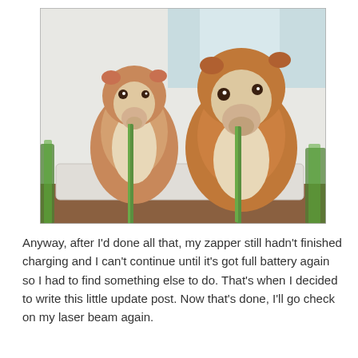[Figure (photo): Two guinea pigs side by side on a white surface, both eating green stalks (likely celery). The left guinea pig is smaller with brown and white fur. The right guinea pig is larger with orange-brown and white fur. Blurred green foreground elements visible.]
Anyway, after I'd done all that, my zapper still hadn't finished charging and I can't continue until it's got full battery again so I had to find something else to do. That's when I decided to write this little update post. Now that's done, I'll go check on my laser beam again.